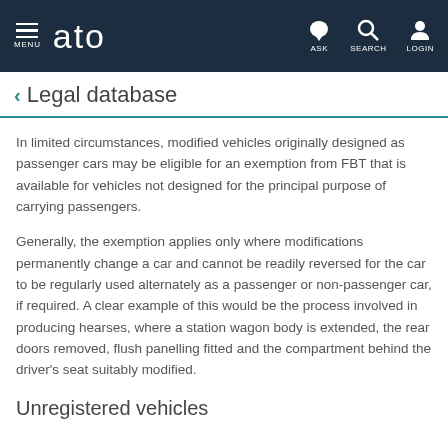ATO Legal database — navigation bar
Legal database
In limited circumstances, modified vehicles originally designed as passenger cars may be eligible for an exemption from FBT that is available for vehicles not designed for the principal purpose of carrying passengers.
Generally, the exemption applies only where modifications permanently change a car and cannot be readily reversed for the car to be regularly used alternately as a passenger or non-passenger car, if required. A clear example of this would be the process involved in producing hearses, where a station wagon body is extended, the rear doors removed, flush panelling fitted and the compartment behind the driver's seat suitably modified.
Unregistered vehicles